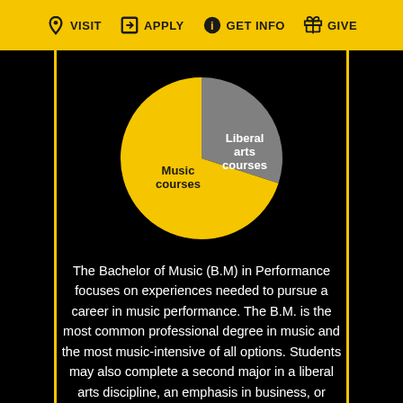VISIT  APPLY  GET INFO  GIVE
[Figure (pie-chart): ]
The Bachelor of Music (B.M) in Performance focuses on experiences needed to pursue a career in music performance. The B.M. is the most common professional degree in music and the most music-intensive of all options. Students may also complete a second major in a liberal arts discipline, an emphasis in business, or choose to pursue the Five-Year Double Degree (B.M./B.A.).